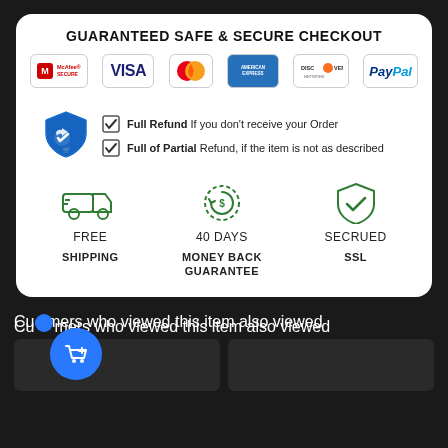GUARANTEED SAFE & SECURE CHECKOUT
[Figure (infographic): Payment method logos: McAfee Secure, Visa, Mastercard, American Express, Discover Network, PayPal]
[Figure (infographic): Buyer protection shield icon with two checkmarks: Full Refund if you don't receive your Order; Full of Partial Refund, if the item is not as described]
[Figure (infographic): Three trust badges: Free Shipping (truck icon), 40 Days Money Back Guarantee (dollar circular arrow icon), Secrued SSL (shield checkmark icon)]
Customers who viewed this item also viewed